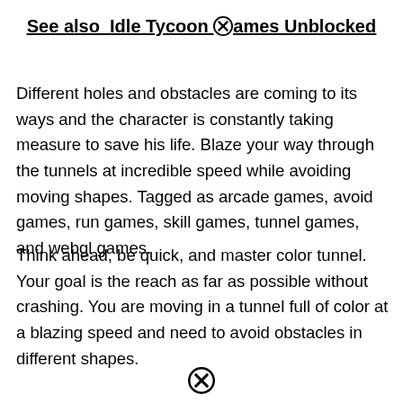See also  Idle Tycoon Games Unblocked
Different holes and obstacles are coming to its ways and the character is constantly taking measure to save his life. Blaze your way through the tunnels at incredible speed while avoiding moving shapes. Tagged as arcade games, avoid games, run games, skill games, tunnel games, and webgl games.
Think ahead, be quick, and master color tunnel. Your goal is the reach as far as possible without crashing. You are moving in a tunnel full of color at a blazing speed and need to avoid obstacles in different shapes.